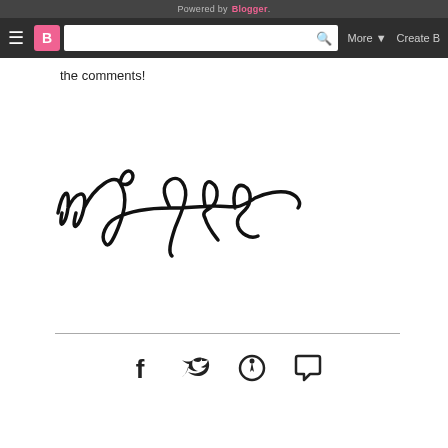Powered by Blogger.
≡  B  [search]  More▾  Create B…
the comments!
[Figure (illustration): Handwritten cursive signature reading 'xxkayla' in black ink on white background]
[Figure (infographic): Social sharing icons: Facebook (f), Twitter (bird), Pinterest (p), Comment bubble]